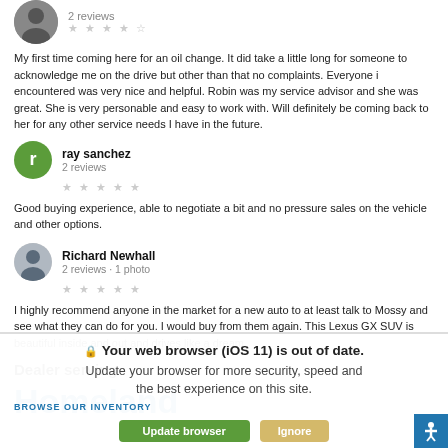[Figure (photo): Partial user avatar (photo, cropped at top) with '2 reviews' text and star rating below]
My first time coming here for an oil change. It did take a little long for someone to acknowledge me on the drive but other than that no complaints. Everyone i encountered was very nice and helpful. Robin was my service advisor and she was great. She is very personable and easy to work with. Will definitely be coming back to her for any other service needs I have in the future.
[Figure (photo): Green circle avatar with letter 'r' for reviewer ray sanchez]
ray sanchez
2 reviews
Good buying experience, able to negotiate a bit and no pressure sales on the vehicle and other options.
[Figure (photo): Photo avatar for Richard Newhall showing a silhouetted figure]
Richard Newhall
2 reviews · 1 photo
I highly recommend anyone in the market for a new auto to at least talk to Mossy and see what they can do for you. I would buy from them again. This Lexus GX SUV is beautiful inside and out and drives like a dream.
Dealer serving
Homeland
Your web browser (iOS 11) is out of date. Update your browser for more security, speed and the best experience on this site.